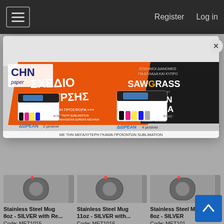Register   Log in
[Figure (screenshot): CHN Paper promotional banner for Sawgrass sublimation printers — ΣΧΕΔΙΟ ΑΠΟΣΥΡΣΗΣ (retirement plan) with free inks offer, showing SC500 and SC1000 printers with colorful ink cartridges. Text includes ΔΩΡΕΑΝ ΜΕΛΑΝΙΑ, ΜΕ ΤΗΝ ΜΕΓΑΛΥΤΕΡΗ ΓΚΑΜΑ ΠΡΟΪΟΝΤΩΝ SUBLIMATION.]
Stainless Steel Mug 8oz - SILVER with Re...
Code: MET1015
Stainless Steel Mug 11oz - SILVER with...
Code: MET1016
Stainless Steel Mug 8oz - SILVER
Code: MET101...